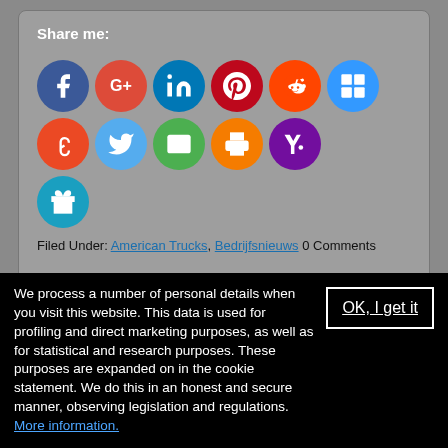Share me:
[Figure (infographic): Row of social sharing icon buttons: Facebook, Google+, LinkedIn, Pinterest, Reddit, Delicious, StumbleUpon, Twitter, Email, Print, Yahoo, and a gift/present icon below.]
Filed Under: American Trucks, Bedrijfsnieuws 0 Comments
[Figure (screenshot): Partial view of a card with an image at the bottom of the page.]
We process a number of personal details when you visit this website. This data is used for profiling and direct marketing purposes, as well as for statistical and research purposes. These purposes are expanded on in the cookie statement. We do this in an honest and secure manner, observing legislation and regulations. More information.